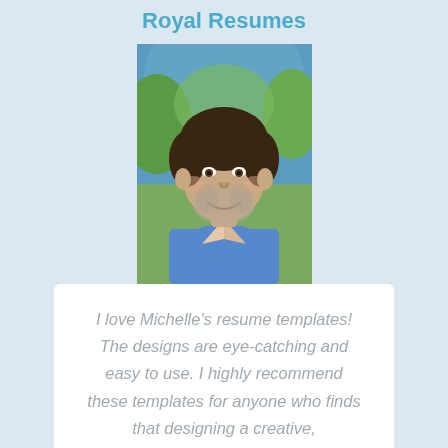Royal Resumes
[Figure (photo): Headshot of a middle-aged man with short dark hair and beard, wearing a blue shirt, smiling, with green foliage background]
I love Michelle's resume templates! The designs are eye-catching and easy to use. I highly recommend these templates for anyone who finds that designing a creative, contemporary formatted resume is a challenge. They're a huge